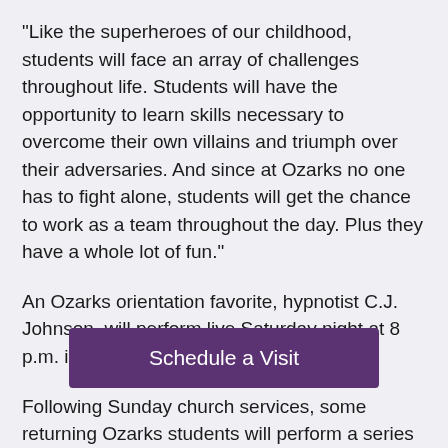"Like the superheroes of our childhood, students will face an array of challenges throughout life. Students will have the opportunity to learn skills necessary to overcome their own villains and triumph over their adversaries. And since at Ozarks no one has to fight alone, students will get the chance to work as a team throughout the day. Plus they have a whole lot of fun."
An Ozarks orientation favorite, hypnotist C.J. Johnson, will perform live Saturday night at 8 p.m. in the Walton Arts Center.
Following Sunday church services, some returning Ozarks students will perform a series of humorous skits on college life. Following dinner and the orientation closing ceremony, students are invited to attend a free movie night at Clarksville Cine
Monday is the final day of orientation. "We will show them
[Figure (other): Purple button labeled 'Schedule a Visit']